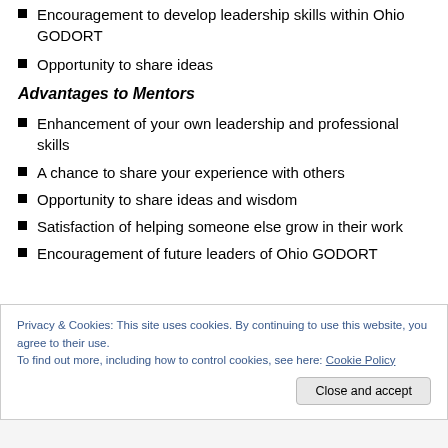Encouragement to develop leadership skills within Ohio GODORT
Opportunity to share ideas
Advantages to Mentors
Enhancement of your own leadership and professional skills
A chance to share your experience with others
Opportunity to share ideas and wisdom
Satisfaction of helping someone else grow in their work
Encouragement of future leaders of Ohio GODORT
Privacy & Cookies: This site uses cookies. By continuing to use this website, you agree to their use.
To find out more, including how to control cookies, see here: Cookie Policy